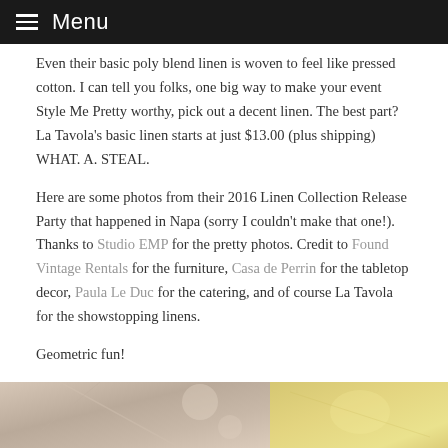Menu
Even their basic poly blend linen is woven to feel like pressed cotton. I can tell you folks, one big way to make your event Style Me Pretty worthy, pick out a decent linen. The best part? La Tavola's basic linen starts at just $13.00 (plus shipping) WHAT. A. STEAL.
Here are some photos from their 2016 Linen Collection Release Party that happened in Napa (sorry I couldn't make that one!). Thanks to Studio EMP for the pretty photos. Credit to Found Vintage Rentals for the furniture, Casa de Perrin for the tabletop decor, Paula Le Duc for the catering, and of course La Tavola for the showstopping linens.
Geometric fun!
[Figure (photo): Two photos side by side showing table decor from the 2016 Linen Collection Release Party in Napa]